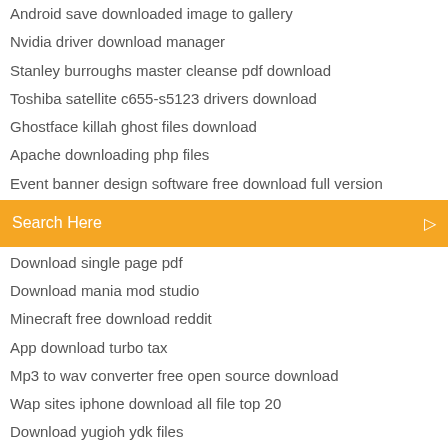Android save downloaded image to gallery
Nvidia driver download manager
Stanley burroughs master cleanse pdf download
Toshiba satellite c655-s5123 drivers download
Ghostface killah ghost files download
Apache downloading php files
Event banner design software free download full version
[Figure (screenshot): Orange search bar with text 'Search Here' and a search icon on the right]
Download single page pdf
Download mania mod studio
Minecraft free download reddit
App download turbo tax
Mp3 to wav converter free open source download
Wap sites iphone download all file top 20
Download yugioh ydk files
Create logos online and download for free
Download mania mod studio